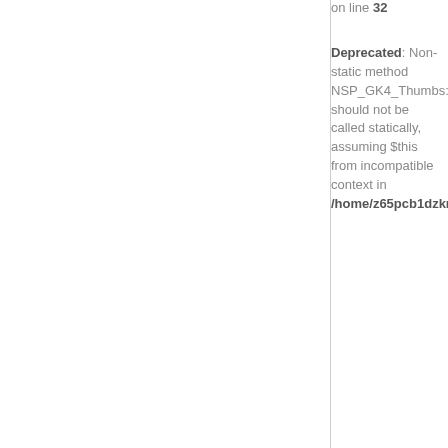on line 32
Deprecated: Non-static method NSP_GK4_Thumbs::translateName() should not be called statically, assuming $this from incompatible context in /home/z65pcb1dzkrp/public_html/modules/mod_news_pro_gk4/tmpl...